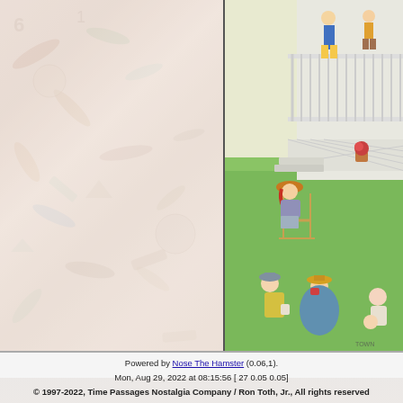[Figure (illustration): Left half: faded watercolor/collage background of assorted objects (art supplies, toys, miscellaneous items) in muted pinks, oranges, and blues. Right half: a detailed color illustration of people relaxing outdoors near a white Victorian porch/veranda, with figures sitting in lawn chairs on green grass, flower pots, and children on the porch steps.]
Powered by Nose The Hamster (0.06,1).
Mon, Aug 29, 2022 at 08:15:56 [ 27 0.05 0.05]
© 1997-2022, Time Passages Nostalgia Company / Ron Toth, Jr., All rights reserved